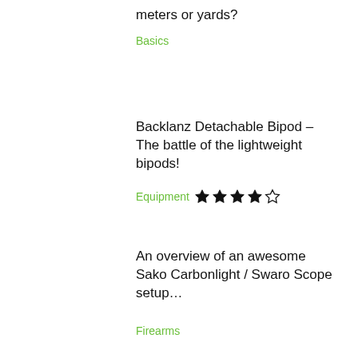meters or yards?
Basics
Backlanz Detachable Bipod – The battle of the lightweight bipods!
Equipment ★★★★☆
An overview of an awesome Sako Carbonlight / Swaro Scope setup…
Firearms